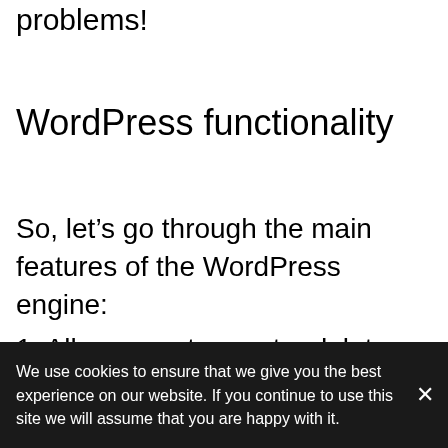problems!
WordPress functionality
So, let’s go through the main features of the WordPress engine:
1. Allows you to create, delete and edit static pages (for example, “About company”
We use cookies to ensure that we give you the best experience on our website. If you continue to use this site we will assume that you are happy with it.